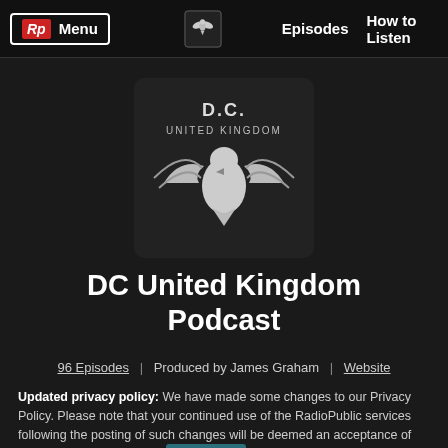Rp Menu | Episodes | How to Listen
[Figure (logo): DC United Kingdom podcast logo — dark square with eagle/bird silhouette and text 'D.C. UNITED KINGDOM']
DC United Kingdom Podcast
96 Episodes | Produced by James Graham | Website
Updated privacy policy: We have made some changes to our Privacy Policy. Please note that your continued use of the RadioPublic services following the posting of such changes will be deemed an acceptance of this update. Learn more.